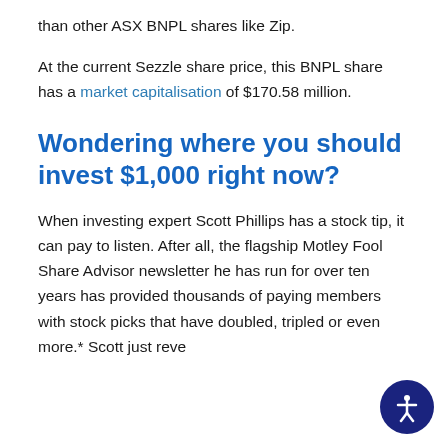than other ASX BNPL shares like Zip.
At the current Sezzle share price, this BNPL share has a market capitalisation of $170.58 million.
Wondering where you should invest $1,000 right now?
When investing expert Scott Phillips has a stock tip, it can pay to listen. After all, the flagship Motley Fool Share Advisor newsletter he has run for over ten years has provided thousands of paying members with stock picks that have doubled, tripled or even more.* Scott just reve...